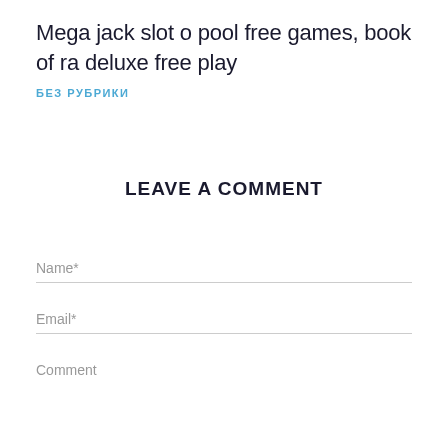Mega jack slot o pool free games, book of ra deluxe free play
БЕЗ РУБРИКИ
LEAVE A COMMENT
Name*
Email*
Comment